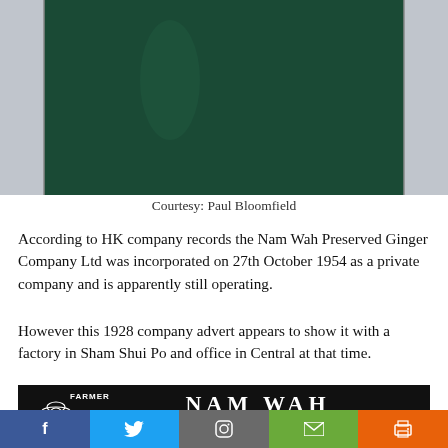[Figure (photo): Top portion of a dark green ceramic ginger jar against a pale grey background]
Courtesy: Paul Bloomfield
According to HK company records the Nam Wah Preserved Ginger Company Ltd was incorporated on 27th October 1954 as a private company and is apparently still operating.
However this 1928 company advert appears to show it with a factory in Sham Shui Po and office in Central at that time.
[Figure (photo): 1928 advertisement for Nam Wah Brand New Season Ginger showing a farmer figure on black background with text: FARMER, NAM WAH, BRAND., NEW SEASON GINGER., Well Preserved., Colour and Mellowness Guaranteed]
[Figure (infographic): Social media sharing bar with Facebook, Twitter, Instagram, Email, and Print buttons]